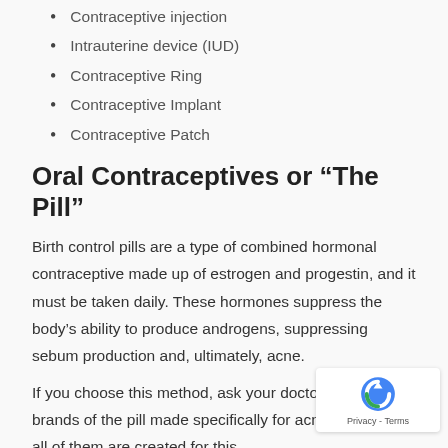Contraceptive injection
Intrauterine device (IUD)
Contraceptive Ring
Contraceptive Implant
Contraceptive Patch
Oral Contraceptives or “The Pill”
Birth control pills are a type of combined hormonal contraceptive made up of estrogen and progestin, and it must be taken daily. These hormones suppress the body’s ability to produce androgens, suppressing sebum production and, ultimately, acne.
If you choose this method, ask your doctor about brands of the pill made specifically for acne control. Not all of them are created for this